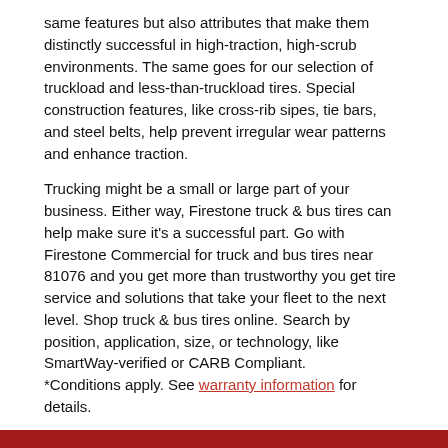same features but also attributes that make them distinctly successful in high-traction, high-scrub environments. The same goes for our selection of truckload and less-than-truckload tires. Special construction features, like cross-rib sipes, tie bars, and steel belts, help prevent irregular wear patterns and enhance traction.
Trucking might be a small or large part of your business. Either way, Firestone truck & bus tires can help make sure it's a successful part. Go with Firestone Commercial for truck and bus tires near 81076 and you get more than trustworthy you get tire service and solutions that take your fleet to the next level. Shop truck & bus tires online. Search by position, application, size, or technology, like SmartWay-verified or CARB Compliant. *Conditions apply. See warranty information for details.
Dependable. Durable. Guaranteed.™
Give these tires 90 days. If they don't live up to your expectations, just give them back.* That's the 90-Day Buy and Try Guarantee™.